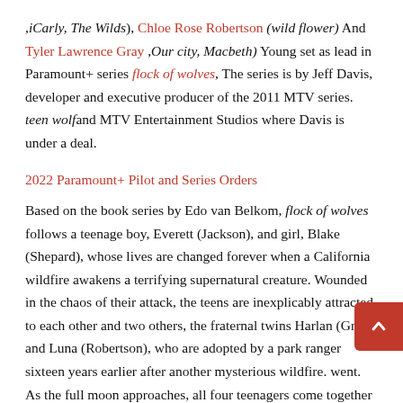,iCarly, The Wilds), Chloe Rose Robertson (wild flower) And Tyler Lawrence Gray ,Our city, Macbeth) Young set as lead in Paramount+ series flock of wolves, The series is by Jeff Davis, developer and executive producer of the 2011 MTV series. teen wolfand MTV Entertainment Studios where Davis is under a deal.
2022 Paramount+ Pilot and Series Orders
Based on the book series by Edo van Belkom, flock of wolves follows a teenage boy, Everett (Jackson), and girl, Blake (Shepard), whose lives are changed forever when a California wildfire awakens a terrifying supernatural creature. Wounded in the chaos of their attack, the teens are inexplicably attracted to each other and two others, the fraternal twins Harlan (Grey) and Luna (Robertson), who are adopted by a park ranger sixteen years earlier after another mysterious wildfire. went. As the full moon approaches, all four teenagers come together to uncover